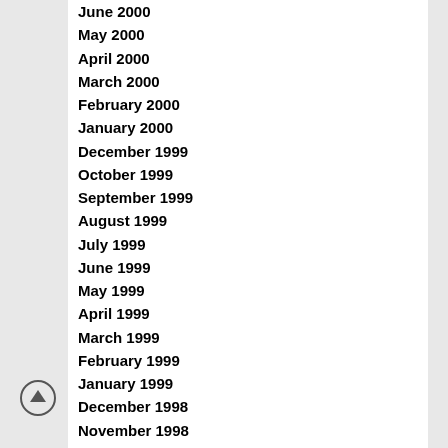June 2000
May 2000
April 2000
March 2000
February 2000
January 2000
December 1999
October 1999
September 1999
August 1999
July 1999
June 1999
May 1999
April 1999
March 1999
February 1999
January 1999
December 1998
November 1998
September 1998
August 1998